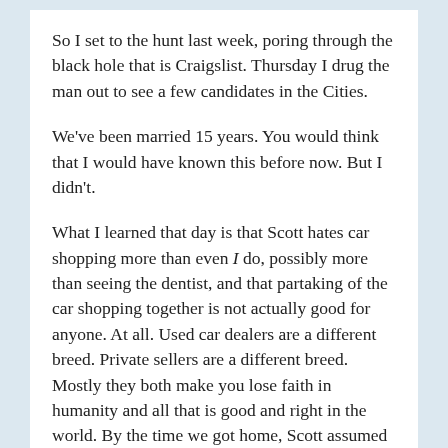So I set to the hunt last week, poring through the black hole that is Craigslist. Thursday I drug the man out to see a few candidates in the Cities.
We've been married 15 years. You would think that I would have known this before now. But I didn't.
What I learned that day is that Scott hates car shopping more than even I do, possibly more than seeing the dentist, and that partaking of the car shopping together is not actually good for anyone. At all. Used car dealers are a different breed. Private sellers are a different breed. Mostly they both make you lose faith in humanity and all that is good and right in the world. By the time we got home, Scott assumed the fetal position and I vowed to be in charge of all future vehicular purchases. Forever. Lest he combust.